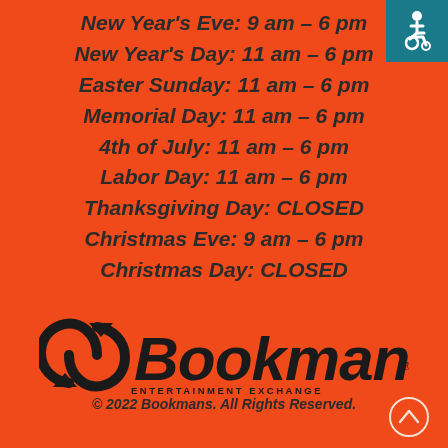New Year's Eve: 9 am – 6 pm
New Year's Day: 11 am – 6 pm
Easter Sunday: 11 am – 6 pm
Memorial Day: 11 am – 6 pm
4th of July: 11 am – 6 pm
Labor Day: 11 am – 6 pm
Thanksgiving Day: CLOSED
Christmas Eve: 9 am – 6 pm
Christmas Day: CLOSED
[Figure (logo): Bookmans Entertainment Exchange logo in black on orange background]
© 2022 Bookmans. All Rights Reserved.